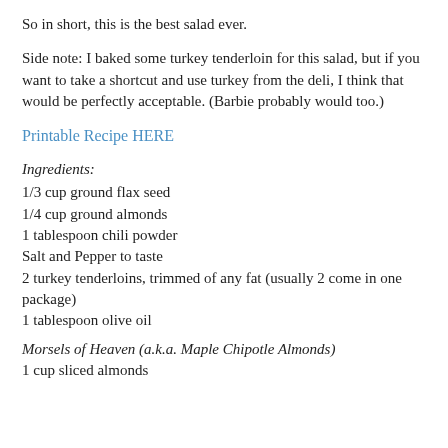So in short, this is the best salad ever.
Side note: I baked some turkey tenderloin for this salad, but if you want to take a shortcut and use turkey from the deli, I think that would be perfectly acceptable.  (Barbie probably would too.)
Printable Recipe HERE
Ingredients:
1/3 cup ground flax seed
1/4 cup ground almonds
1 tablespoon chili powder
Salt and Pepper to taste
2 turkey tenderloins, trimmed of any fat (usually 2 come in one package)
1 tablespoon olive oil
Morsels of Heaven (a.k.a. Maple Chipotle Almonds)
1 cup sliced almonds